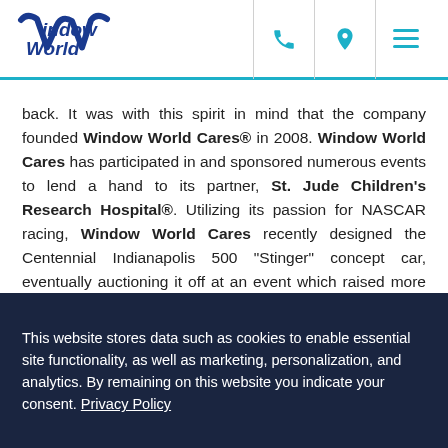Window World [logo] [phone icon] [location icon] [menu icon]
back. It was with this spirit in mind that the company founded Window World Cares® in 2008. Window World Cares has participated in and sponsored numerous events to lend a hand to its partner, St. Jude Children's Research Hospital®. Utilizing its passion for NASCAR racing, Window World Cares recently designed the Centennial Indianapolis 500 "Stinger" concept car, eventually auctioning it off at an event which raised more than $1 million for St. Jude in one night.
This website stores data such as cookies to enable essential site functionality, as well as marketing, personalization, and analytics. By remaining on this website you indicate your consent. Privacy Policy